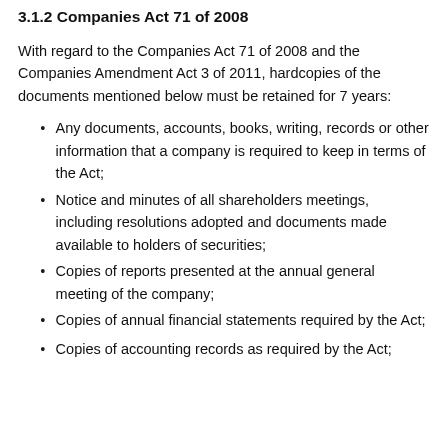3.1.2 Companies Act 71 of 2008
With regard to the Companies Act 71 of 2008 and the Companies Amendment Act 3 of 2011, hardcopies of the documents mentioned below must be retained for 7 years:
Any documents, accounts, books, writing, records or other information that a company is required to keep in terms of the Act;
Notice and minutes of all shareholders meetings, including resolutions adopted and documents made available to holders of securities;
Copies of reports presented at the annual general meeting of the company;
Copies of annual financial statements required by the Act;
Copies of accounting records as required by the Act;